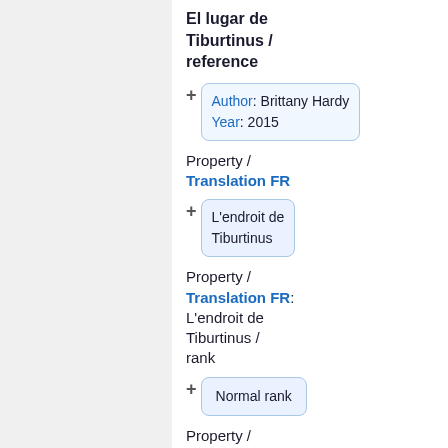El lugar de Tiburtinus / reference
Author: Brittany Hardy
Year: 2015
Property / Translation FR
L'endroit de Tiburtinus
Property / Translation FR: L'endroit de Tiburtinus / rank
Normal rank
Property /